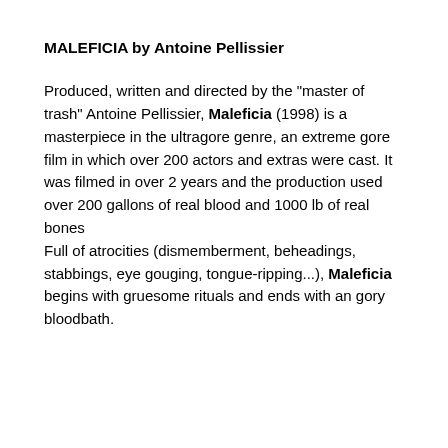MALEFICIA by Antoine Pellissier
Produced, written and directed by the "master of trash" Antoine Pellissier, Maleficia (1998) is a masterpiece in the ultragore genre, an extreme gore film in which over 200 actors and extras were cast. It was filmed in over 2 years and the production used over 200 gallons of real blood and 1000 lb of real bones
Full of atrocities (dismemberment, beheadings, stabbings, eye gouging, tongue-ripping...), Maleficia begins with gruesome rituals and ends with an gory bloodbath.